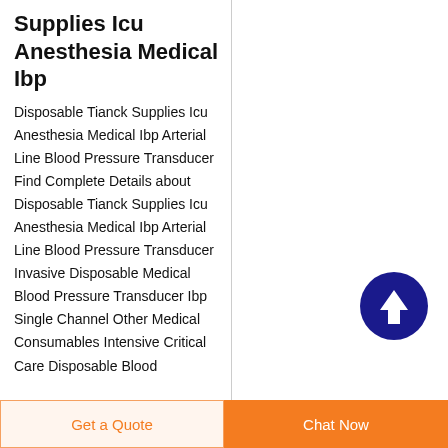Supplies Icu Anesthesia Medical Ibp
Disposable Tianck Supplies Icu Anesthesia Medical Ibp Arterial Line Blood Pressure Transducer Find Complete Details about Disposable Tianck Supplies Icu Anesthesia Medical Ibp Arterial Line Blood Pressure Transducer Invasive Disposable Medical Blood Pressure Transducer Ibp Single Channel Other Medical Consumables Intensive Critical Care Disposable Blood
[Figure (other): Dark blue circular scroll-to-top button with white upward arrow icon]
Get a Quote
Chat Now